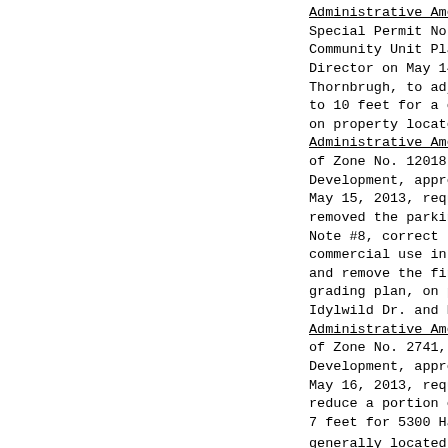Administrative Amendment No. 13028 to Special Permit No. 1762D, Vintage Heights Community Unit Plan, approved by the Planning Director on May 14, 2013, requested by V. Thornbrugh, to adjust the rear yard from to 10 feet for a covered, unenclosed patio on property located at 6714 Glass Ridge.
Administrative Amendment No. 13032 to Change of Zone No. 12018, Holdrege/Idylwild Planned Development, approved by the Planning Director May 15, 2013, requested by Olsson Associates, removed the parking stalls on Idylwild Dr. in Note #8, correct the number of required spaces for commercial use in the B-1 PUD parking calculation, and remove the finish floor elevation on the grading plan, on property generally located at Idylwild Dr. and Holdrege St.
Administrative Amendment No. 13033 to Change of Zone No. 2741, Hallshire Estates Planned Development, approved by the Planning Director May 16, 2013, requested by Design Associates, reduce a portion of the side yard from 1 to 7 feet for 5300 Hallshire Court, on property generally located at S. 52nd St. and Old Cheney Rd.
Administrative Amendment No. 13025 to Special Permit No. 1674, Cheney Ridge Community Unit Plan, approved by the Planning Director on May requested by TCS Family Farms LP, to increase number of apartment units from 200 to 20